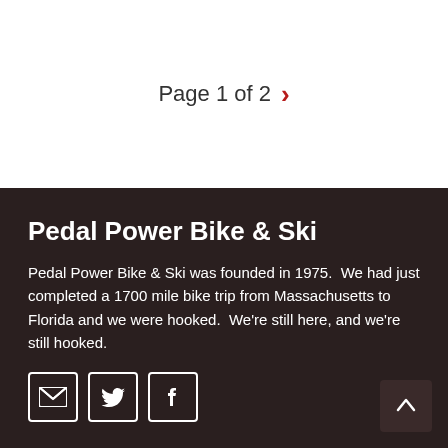Page 1 of 2
Pedal Power Bike & Ski
Pedal Power Bike & Ski was founded in 1975.  We had just completed a 1700 mile bike trip from Massachusetts to Florida and we were hooked.  We're still here, and we're still hooked.